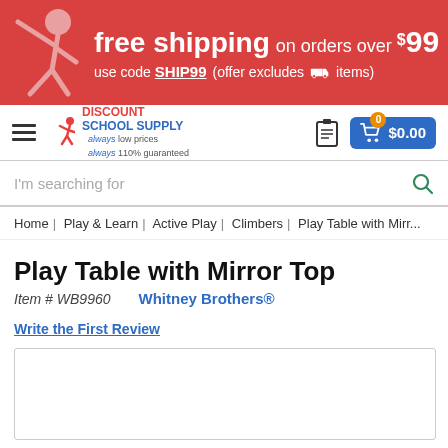[Figure (screenshot): Red promotional banner with a stick figure mascot, text: 'free shipping on orders over $99 use code SHIP99 (offer excludes freight items)']
[Figure (screenshot): Navigation bar with hamburger menu, Discount School Supply logo with tagline 'always low prices always 110% guaranteed', clipboard icon, and cart button showing $0.00]
[Figure (screenshot): Search bar with placeholder 'I'm searching for' and a green magnifying glass icon]
Home | Play & Learn | Active Play | Climbers | Play Table with Mirr...
Play Table with Mirror Top
Item # WB9960    Whitney Brothers®
Write the First Review